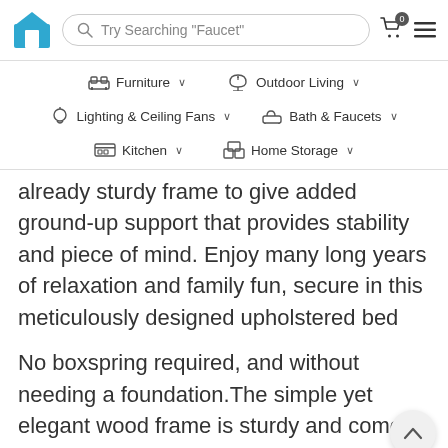Try Searching "Faucet"
Furniture
Outdoor Living
Lighting & Ceiling Fans
Bath & Faucets
Kitchen
Home Storage
already sturdy frame to give added ground-up support that provides stability and piece of mind. Enjoy many long years of relaxation and family fun, secure in this meticulously designed upholstered bed
No boxspring required, and without needing a foundation.The simple yet elegant wood frame is sturdy and comes